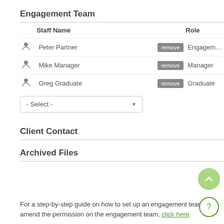Engagement Team
|  | Staff Name |  | Role |
| --- | --- | --- | --- |
|  | Peter Partner | remove | Engagement Partner |
|  | Mike Manager | remove | Manager |
|  | Greg Graduate | remove | Graduate |
Client Contact
Archived Files
For a step-by-step guide on how to set up an engagement team and amend the permission on the engagement team, click here.